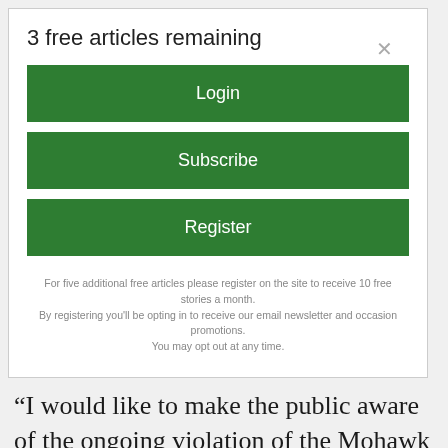3 free articles remaining
[Figure (screenshot): Green Login button]
[Figure (screenshot): Green Subscribe button]
[Figure (screenshot): Green Register button]
For five additional free articles please register on the site to receive 10 free stories a month. By registering you'll be opting in to receive our email newsletter and occasion promotions. You may opt out at any time.
“I would like to make the public aware of the ongoing violation of the Mohawk Trail regional district’s policy and procedure IJL